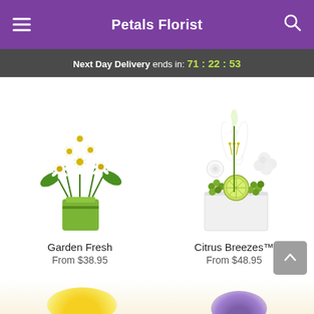Petals Florist
Next Day Delivery ends in: 71 : 22 : 53
[Figure (photo): Bouquet of white daisies in a green rectangular vase labeled Garden Fresh]
Garden Fresh
From $38.95
[Figure (photo): White floral arrangement with lilies and lime slices in a white rectangular vase labeled Citrus Breezes™]
Citrus Breezes™
From $48.95